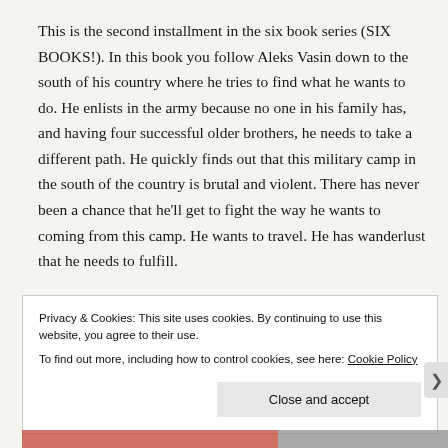This is the second installment in the six book series (SIX BOOKS!). In this book you follow Aleks Vasin down to the south of his country where he tries to find what he wants to do. He enlists in the army because no one in his family has, and having four successful older brothers, he needs to take a different path. He quickly finds out that this military camp in the south of the country is brutal and violent. There has never been a chance that he'll get to fight the way he wants to coming from this camp. He wants to travel. He has wanderlust that he needs to fulfill.
Privacy & Cookies: This site uses cookies. By continuing to use this website, you agree to their use.
To find out more, including how to control cookies, see here: Cookie Policy
Close and accept